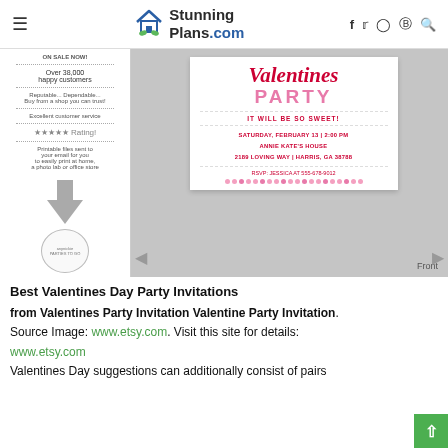StunningPlans.com
[Figure (photo): Screenshot of a Valentines Party invitation product listing on Etsy, showing the invitation card with text 'Valentines PARTY IT WILL BE SO SWEET! SATURDAY, FEBRUARY 13 | 2:00 PM ANNIE KATE'S HOUSE 2189 LOVING WAY | HARRIS, GA 38788 RSVP: JESSICA AT 555-678-9012'. Left side shows shop credibility info. Navigation arrows visible. Front label in bottom right.]
Best Valentines Day Party Invitations
from Valentines Party Invitation Valentine Party Invitation.
Source Image: www.etsy.com. Visit this site for details:
www.etsy.com
Valentines Day suggestions can additionally consist of pairs